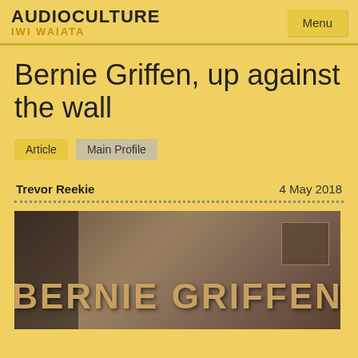AUDIOCULTURE IWI WAIATA
Bernie Griffen, up against the wall
Article
Main Profile
Trevor Reekie	4 May 2018
[Figure (photo): Album cover for Bernie Griffen showing the artist name in large letters against a sepia/brown textured background with dark shadowy figure on left and a small framed image on the right.]